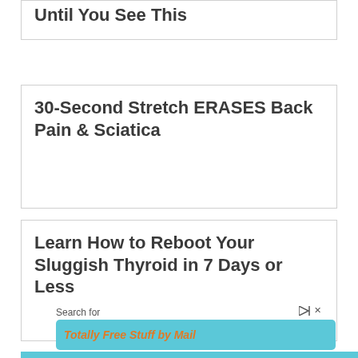Until You See This
30-Second Stretch ERASES Back Pain & Sciatica
Learn How to Reboot Your Sluggish Thyroid in 7 Days or Less
Search for
Totally Free Stuff by Mail